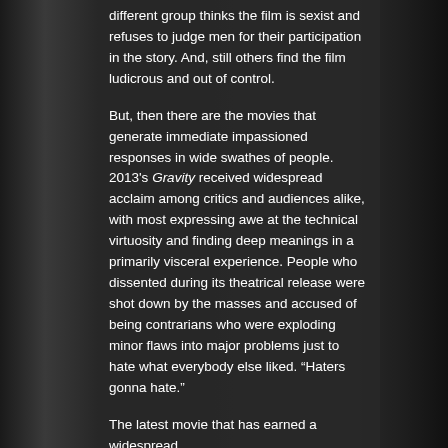different group thinks the film is sexist and refuses to judge men for their participation in the story. And, still others find the film ludicrous and out of control.
But, then there are the movies that generate immediate impassioned responses in wide swathes of people. 2013's Gravity received widespread acclaim among critics and audiences alike, with most expressing awe at the technical virtuosity and finding deep meanings in a primarily visceral experience. People who dissented during its theatrical release were shot down by the masses and accused of being contrarians who were exploding minor flaws into major problems just to hate what everybody else liked. “Haters gonna hate.”
The latest movie that has earned a widespread